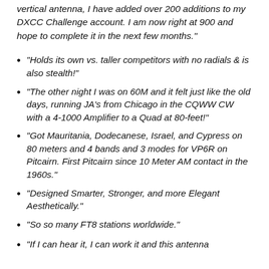vertical antenna, I have added over 200 additions to my DXCC Challenge account. I am now right at 900 and hope to complete it in the next few months."
"Holds its own vs. taller competitors with no radials & is also stealth!"
"The other night I was on 60M and it felt just like the old days, running JA's from Chicago in the CQWW CW with a 4-1000 Amplifier to a Quad at 80-feet!"
"Got Mauritania, Dodecanese, Israel, and Cypress on 80 meters and 4 bands and 3 modes for VP6R on Pitcairn. First Pitcairn since 10 Meter AM contact in the 1960s."
"Designed Smarter, Stronger, and more Elegant Aesthetically."
"So so many FT8 stations worldwide."
"If I can hear it, I can work it and this antenna